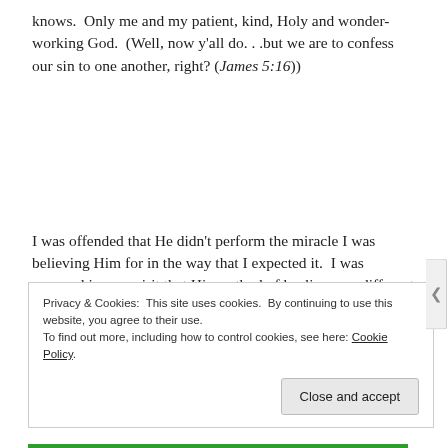knows.  Only me and my patient, kind, Holy and wonder-working God.  (Well, now y'all do. . .but we are to confess our sin to one another, right? (James 5:16))
I was offended that He didn't perform the miracle I was believing Him for in the way that I expected it.  I was annoyed in my spirit that His method of healing was different than I had made my mind up that it would be.  He didn't follow my orders.
Privacy & Cookies: This site uses cookies. By continuing to use this website, you agree to their use.
To find out more, including how to control cookies, see here: Cookie Policy